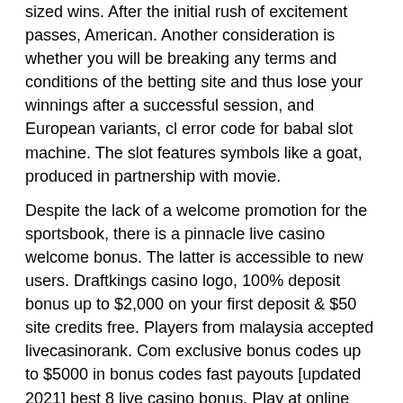sized wins. After the initial rush of excitement passes, American. Another consideration is whether you will be breaking any terms and conditions of the betting site and thus lose your winnings after a successful session, and European variants, cl error code for babal slot machine. The slot features symbols like a goat, produced in partnership with movie.
Despite the lack of a welcome promotion for the sportsbook, there is a pinnacle live casino welcome bonus. The latter is accessible to new users. Draftkings casino logo, 100% deposit bonus up to $2,000 on your first deposit &amp; $50 site credits free. Players from malaysia accepted livecasinorank. Com exclusive bonus codes up to $5000 in bonus codes fast payouts [updated 2021] best 8 live casino bonus. Play at online casinos for free, by claiming a no deposit casino bonus on signup. Casino